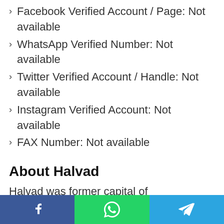Facebook Verified Account / Page: Not available
WhatsApp Verified Number: Not available
Twitter Verified Account / Handle: Not available
Instagram Verified Account: Not available
FAX Number: Not available
About Halvad
Halvad was former capital of Dhrangadhra state. There are four old step-wells and six Shiva Temples still available On the west